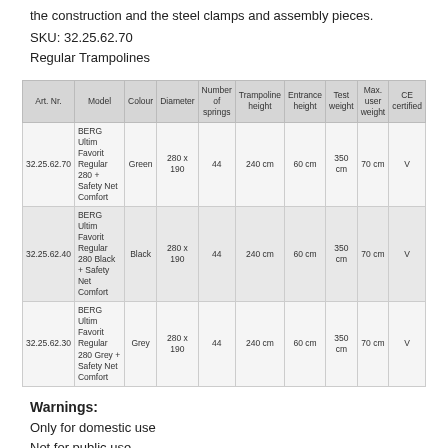the construction and the steel clamps and assembly pieces.
SKU: 32.25.62.70
Regular Trampolines
| Art. Nr. | Model | Colour | Diameter | Number of springs | Trampoline height | Entrance height | Test weight | Max. user weight | CE certified |
| --- | --- | --- | --- | --- | --- | --- | --- | --- | --- |
| 32.25.62.70 | BERG Ultim Favorit Regular 280 + Safety Net Comfort | Green | 280 x 190 | 44 | 240 cm | 60 cm | 350 cm | 70 cm | V |
| 32.25.62.40 | BERG Ultim Favorit Regular 280 Black + Safety Net Comfort | Black | 280 x 190 | 44 | 240 cm | 60 cm | 350 cm | 70 cm | V |
| 32.25.62.30 | BERG Ultim Favorit Regular 280 Grey + Safety Net Comfort | Grey | 280 x 190 | 44 | 240 cm | 60 cm | 350 cm | 70 cm | V |
Warnings:
Only for domestic use
Not for public use
Only one user - Collision hazard
The BERG Trampoline is for outdoor use only
The BERG Trampoline is not recommended for use by children under 6 years of age
Not suitable for children under 36 months - Fall hazard
There must be a clearing of at least 2 meters around the